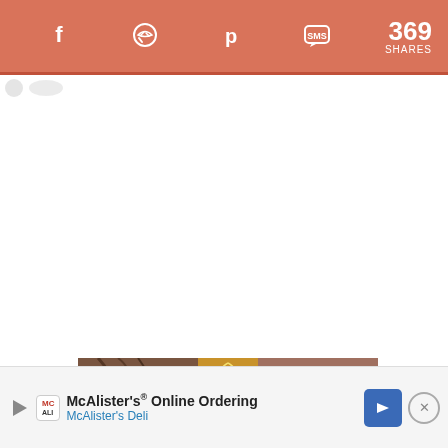369 SHARES
[Figure (screenshot): Social share toolbar with Facebook, Messenger, Pinterest, and SMS icons on salmon/coral background, showing 369 SHARES count on right]
[Figure (photo): Partial image of women with updo hairstyles, appears to be a hairstyle article image]
[Figure (screenshot): McAlister's Online Ordering advertisement banner with play button, McAli logo, arrow navigation button, and close X button]